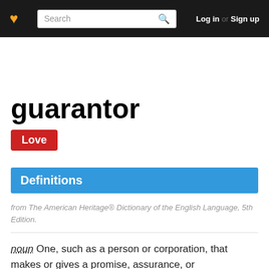❤ Search Log in or Sign up
guarantor
Love
Definitions
from The American Heritage® Dictionary of the English Language, 5th Edition.
noun One, such as a person or corporation, that makes or gives a promise, assurance, or